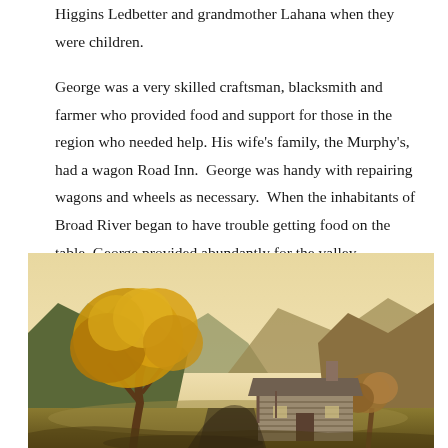Higgins Ledbetter and grandmother Lahana when they were children.
George was a very skilled craftsman, blacksmith and farmer who provided food and support for those in the region who needed help. His wife's family, the Murphy's, had a wagon Road Inn.  George was handy with repairing wagons and wheels as necessary.  When the inhabitants of Broad River began to have trouble getting food on the table, George provided abundantly for the valley.
[Figure (illustration): A scenic landscape painting showing golden autumnal trees on the left, mountains in the background, and a log cabin/building on the right side, rendered in warm golden and earthy tones.]